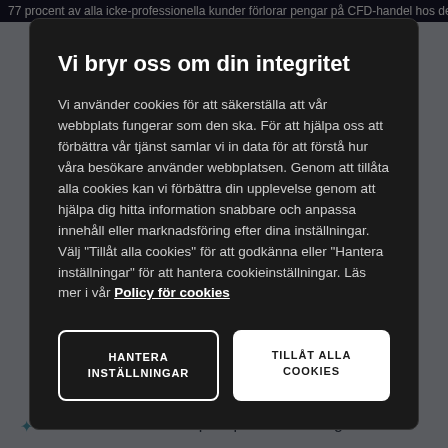77 procent av alla icke-professionella kunder förlorar pengar på CFD-handel hos den
the goals of their shareholders
The environmental aspect promotes using
[Figure (screenshot): Cookie consent modal overlay with dark background. Title: 'Vi bryr oss om din integritet'. Body text in Swedish about cookies. Two buttons: 'HANTERA INSTÄLLNINGAR' (outline) and 'TILLÅT ALLA COOKIES' (white filled).]